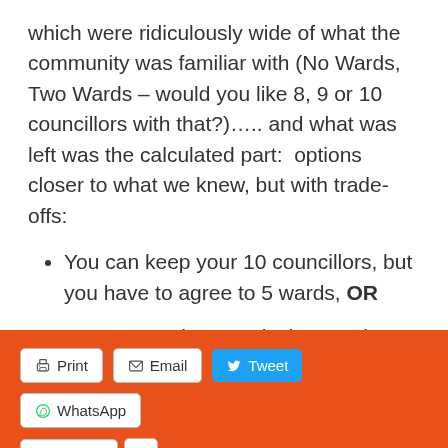which were ridiculously wide of what the community was familiar with (No Wards, Two Wards – would you like 8, 9 or 10 councillors with that?)….. and what was left was the calculated part:  options closer to what we knew, but with trade-offs:
You can keep your 10 councillors, but you have to agree to 5 wards, OR
You can retain 4 wards, but you have to agree to let 2 councillor positions go
Print  Email  Tweet  WhatsApp  Pocket  0